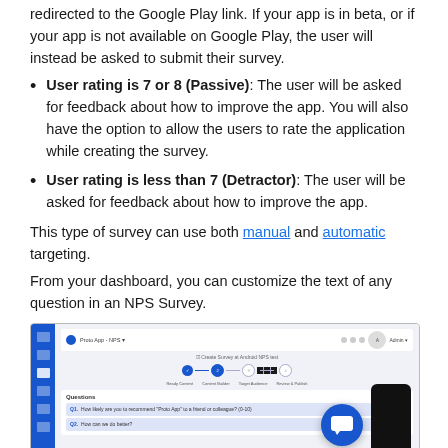User rating is 7 or 8 (Passive): The user will be asked for feedback about how to improve the app. You will also have the option to allow the users to rate the application while creating the survey.
User rating is less than 7 (Detractor): The user will be asked for feedback about how to improve the app.
This type of survey can use both manual and automatic targeting.
From your dashboard, you can customize the text of any question in an NPS Survey.
[Figure (screenshot): Screenshot of a survey creation dashboard showing a multi-step process (Ready, Content Builder, Target Audience, Review & Publish), with questions listed and a chat bubble widget in the bottom right, and a phone mockup on the right side.]